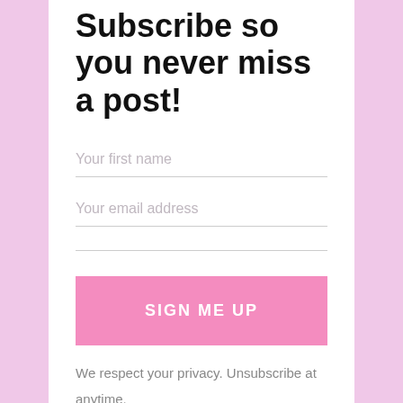Subscribe so you never miss a post!
Your first name
Your email address
[Figure (other): Empty input field with bottom border line]
SIGN ME UP
We respect your privacy. Unsubscribe at anytime.